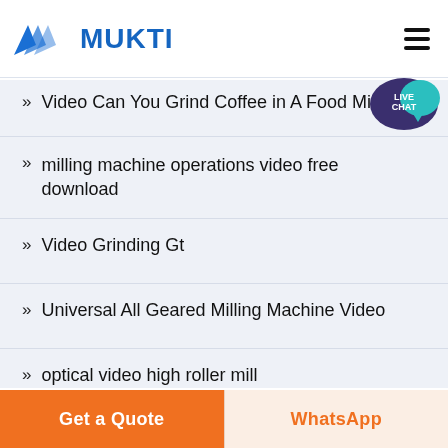[Figure (logo): MUKTI company logo with blue M triangles and blue bold text MUKTI]
Video Can You Grind Coffee in A Food Mill
milling machine operations video free download
Video Grinding Gt
Universal All Geared Milling Machine Video
optical video high roller mill
vertical raw mill video
Get a Quote
WhatsApp